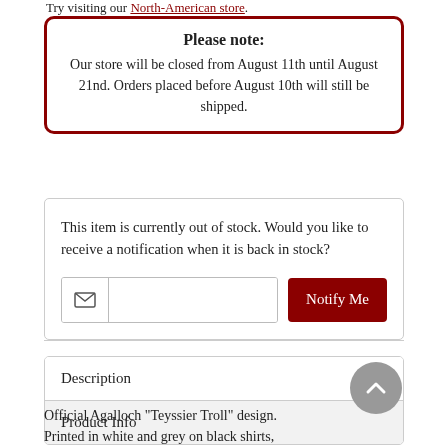Try visiting our North-American store.
Please note: Our store will be closed from August 11th until August 21nd. Orders placed before August 10th will still be shipped.
This item is currently out of stock. Would you like to receive a notification when it is back in stock?
Description
Product Info
Official Agalloch "Teyssier Troll" design. Printed in white and grey on black shirts,